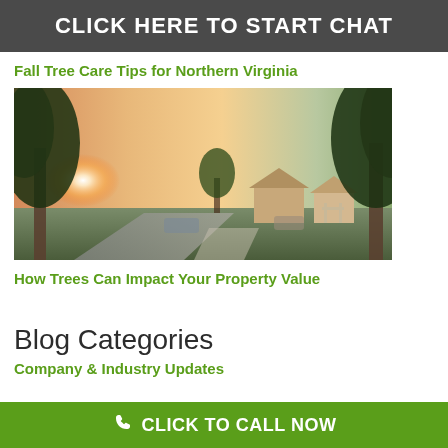CLICK HERE TO START CHAT
Fall Tree Care Tips for Northern Virginia
[Figure (photo): Suburban street scene with trees at sunset, warm light streaming through foliage, houses visible in background]
How Trees Can Impact Your Property Value
Blog Categories
Company & Industry Updates
CLICK TO CALL NOW